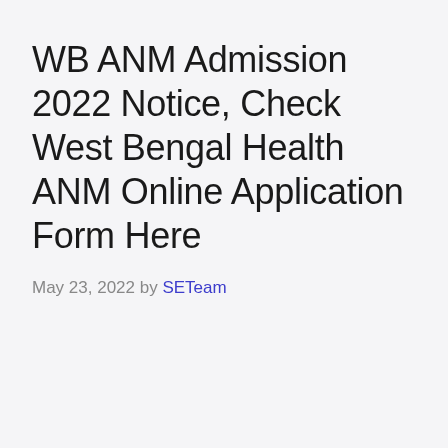WB ANM Admission 2022 Notice, Check West Bengal Health ANM Online Application Form Here
May 23, 2022 by SETeam